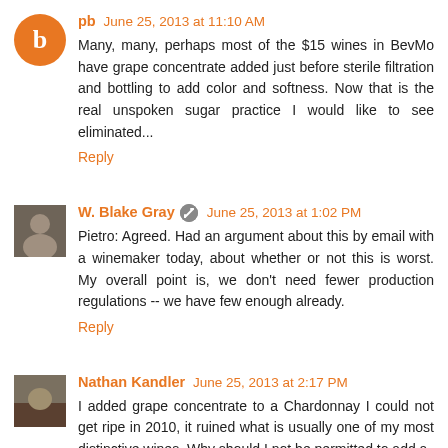pb  June 25, 2013 at 11:10 AM
Many, many, perhaps most of the $15 wines in BevMo have grape concentrate added just before sterile filtration and bottling to add color and softness. Now that is the real unspoken sugar practice I would like to see eliminated...
Reply
W. Blake Gray  June 25, 2013 at 1:02 PM
Pietro: Agreed. Had an argument about this by email with a winemaker today, about whether or not this is worst. My overall point is, we don't need fewer production regulations -- we have few enough already.
Reply
Nathan Kandler  June 25, 2013 at 2:17 PM
I added grape concentrate to a Chardonnay I could not get ripe in 2010, it ruined what is usually one of my most distinctive wines. Why should I not be permitted to add a